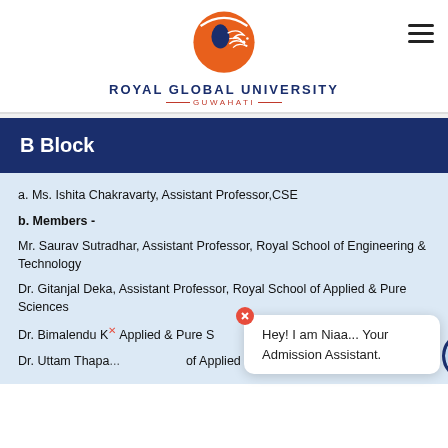Royal Global University, Guwahati
B Block
a. Ms. Ishita Chakravarty, Assistant Professor,CSE
b. Members -
Mr. Saurav Sutradhar, Assistant Professor, Royal School of Engineering & Technology
Dr. Gitanjal Deka, Assistant Professor, Royal School of Applied & Pure Sciences
Dr. Bimalendu K..., Assistant Professor, Royal School of Applied & Pure Sciences
Dr. Uttam Thapa..., ...of Applied & Pure Sciences